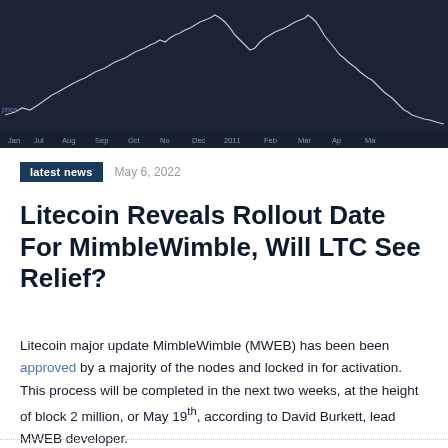[Figure (continuous-plot): Cryptocurrency price chart showing a line chart with price movements over time, spanning from approximately mid-2010 to mid-2022. Dark background with white/light line showing volatility. X-axis has date labels including Jan, Jul, Aug, Sep, Oct, No, Dec, 2011, Feb, Mar, Ap, Ma.]
latest news   May 6, 2022
Litecoin Reveals Rollout Date For MimbleWimble, Will LTC See Relief?
Litecoin major update MimbleWimble (MWEB) has been approved by a majority of the nodes and locked in for activation. This process will be completed in the next two weeks, at the height of block 2 million, or May 19th, according to David Burkett, lead MWEB developer.